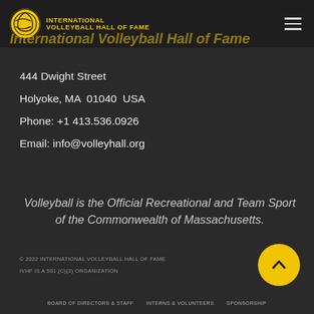INTERNATIONAL VOLLEYBALL HALL OF FAME
International Volleyball Hall of Fame
444 Dwight Street
Holyoke, MA  01040  USA
Phone: +1 413.536.0926
Email: info@volleyhall.org
Volleyball is the Official Recreational and Team Sport of the Commonwealth of Massachusetts.
© 2022 INTERNATIONAL VOLLEYBALL HALL OF FAME
IVHF IS A 501 (C)(3) ORGANIZATION
BOARD OF DIRECTORS & STAFF   INTERNS & VOLUNTEERS   SPONSORSHIP